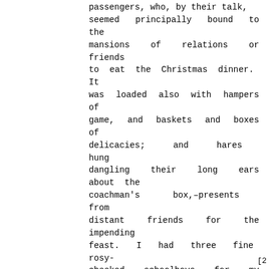passengers, who, by their talk, seemed principally bound to the mansions of relations or friends to eat the Christmas dinner. It was loaded also with hampers of game, and baskets and boxes of delicacies; and hares hung dangling their long ears about the coachman's box,–presents from distant friends for the impending feast. I had three fine rosy-cheeked schoolboys for my fellow-passengers inside, full of the buxom health and manly spirit which I have observed in the children of this country. They were returning home for the holidays in high glee, and promising themselves a world of enjoyment. It was delightful to hear the gigantic plans of pleasure of the little rogues, and the impracticable feats they were to perform during their six weeks' emancipation from the abhorred thraldom of book, birch, and
[2